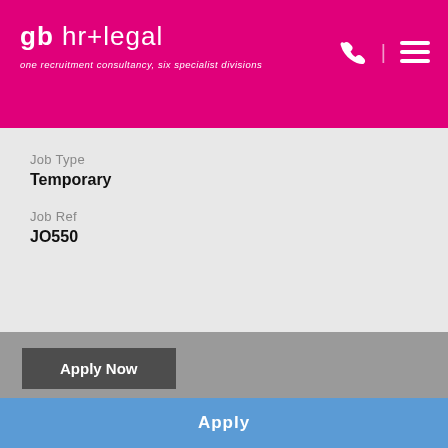gb hr+legal — one recruitment consultancy, six specialist divisions
Job Type
Temporary
Job Ref
JO550
Apply Now
Fields marked with an * are required
Apply